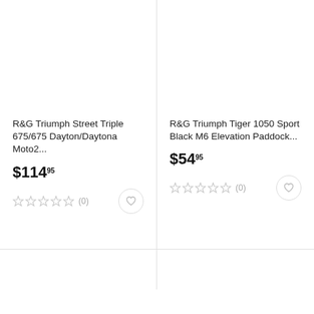[Figure (photo): Product image area for R&G Triumph Street Triple item (blank/white)]
R&G Triumph Street Triple 675/675 Dayton/Daytona Moto2...
$114.95
(0)
[Figure (photo): Product image area for R&G Triumph Tiger 1050 Sport item (blank/white)]
R&G Triumph Tiger 1050 Sport Black M6 Elevation Paddock...
$54.95
(0)